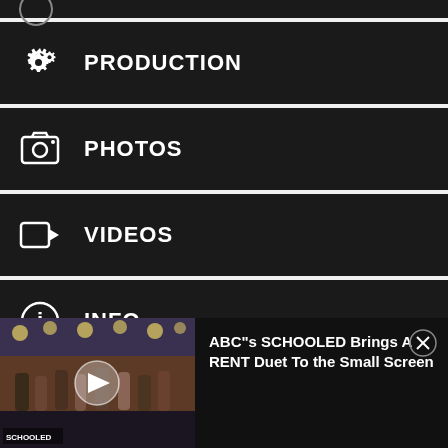PRODUCTION
PHOTOS
VIDEOS
INFO
[Figure (screenshot): Light gray area with a faint circular play button overlay in center]
[Figure (screenshot): Ad banner: ABC's SCHOOLED Brings A RENT Duet To the Small Screen, with video thumbnail on left showing stage scene with performers, play button overlay, and close X button on right]